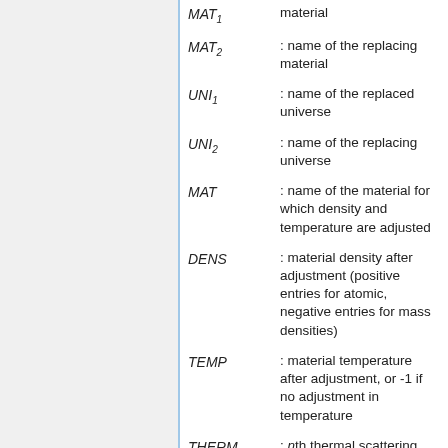MAT_1 : name of the replacing material (first entry, partially visible at top)
MAT_2 : name of the replacing material
UNI_1 : name of the replaced universe
UNI_2 : name of the replacing universe
MAT : name of the material for which density and temperature are adjusted
DENS : material density after adjustment (positive entries for atomic, negative entries for mass densities)
TEMP : material temperature after adjustment, or -1 if no adjustment in temperature
THERM_n : nth thermal scattering data associated with the material